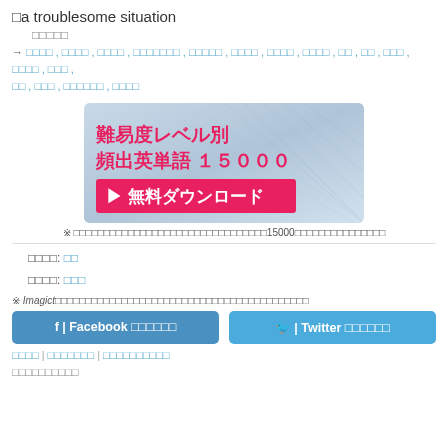□a troublesome situation
□□□□□
→ □□□□ , □□□□ , □□□□ , □□□□□□□ , □□□□□ , □□□□ , □□□□ , □□□□ , □□ , □□ , □□□ , □□□□ , □□□ , □□ , □□□ , □□□□□□ , □□□□
[Figure (illustration): Advertisement banner for 難易度レベル別 頻出英単語 15000 無料ダウンロード (Difficulty level-based Frequent English Words 15000 Free Download)]
※ □□□□□□□□□□□□□□□□□□□□□□□□□□□□□□□□15000□□□□□□□□□□□□□□□
□□□□: □□
□□□□: □□□
※ Imagict□□□□□□□□□□□□□□□□□□□□□□□□□□□□□□□□□□□□□□□□□□
f | Facebook □□□□□□   🐦 | Twitter □□□□□□
□□□□ | □□□□□□□ | □□□□□□□□□□
□□□□□□□□□□